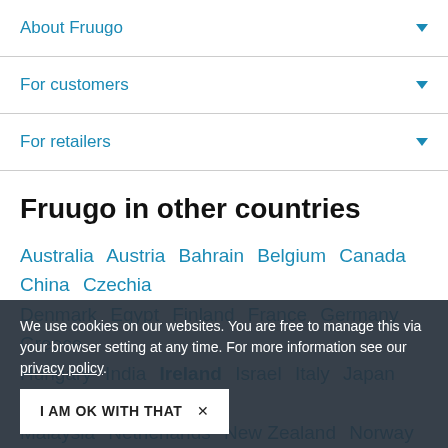About Fruugo
For customers
For retailers
Fruugo in other countries
Australia  Austria  Bahrain  Belgium  Canada  China  Czechia  Denmark  Egypt  Finland  France  Germany  Greece  Hungary  India  Ireland  Israel  Italy  Japan  Luxembourg  Malaysia  Netherlands  New Zealand  Norway  Philippines  Poland  Portugal  Qatar  Romania  Saudi Arabia  Singapore  Slovakia  South Korea  Spain  Sweden
We use cookies on our websites. You are free to manage this via your browser setting at any time. For more information see our privacy policy.
I AM OK WITH THAT  ×